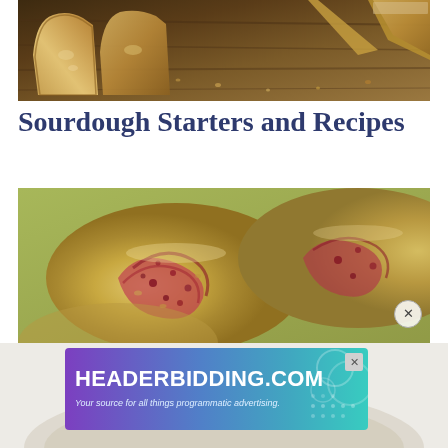[Figure (photo): Close-up photo of sourdough bread slices on a wooden cutting board with crumbs]
Sourdough Starters and Recipes
[Figure (photo): Close-up photo of swirled cranberry or berry sourdough cookies/rolls on a green background]
[Figure (other): Advertisement banner for HEADERBIDDING.COM - Your source for all things programmatic advertising.]